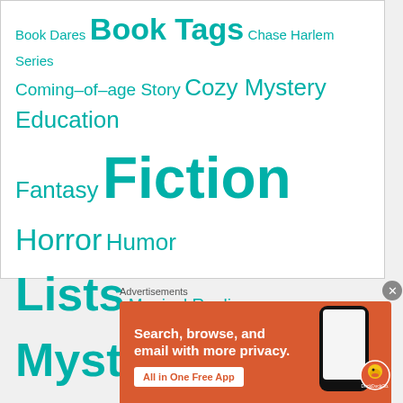[Figure (infographic): Tag cloud showing various blog/book categories in teal color with varying font sizes: Book Dares, Book Tags, Chase Harlem Series, Coming-of-age Story, Cozy Mystery, Education, Fantasy, Fiction (largest), Horror, Humor, Lists, Magical Realism, Mystery/Thriller, Nonfiction, On Blogging, Romance, Saturday Book Sales, Series, Top Ten, True Crime, Tuesday Talks, Uncategorized, Words of Wisdom, Young Adult]
Advertisements
[Figure (screenshot): DuckDuckGo advertisement: orange/red background with text 'Search, browse, and email with more privacy. All in One Free App' with a smartphone graphic and DuckDuckGo logo]